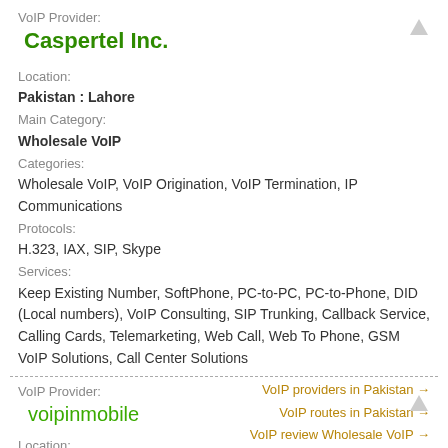VoIP Provider:
Caspertel Inc.
Location:
Pakistan : Lahore
Main Category:
Wholesale VoIP
Categories:
Wholesale VoIP, VoIP Origination, VoIP Termination, IP Communications
Protocols:
H.323, IAX, SIP, Skype
Services:
Keep Existing Number, SoftPhone, PC-to-PC, PC-to-Phone, DID (Local numbers), VoIP Consulting, SIP Trunking, Callback Service, Calling Cards, Telemarketing, Web Call, Web To Phone, GSM VoIP Solutions, Call Center Solutions
VoIP providers in Pakistan →
VoIP routes in Pakistan →
VoIP review Wholesale VoIP →
VoIP Provider:
voipinmobile
Location:
Pakistan : lahore
Main Category:
VoIP Termination